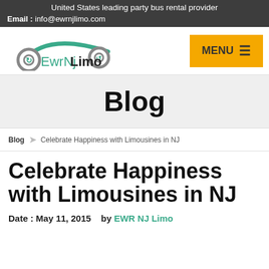United States leading party bus rental provider
Email : info@ewrnjlimo.com
[Figure (logo): EwrNj Limo logo with teal car arc and circular wheel icons]
Blog
Blog  >  Celebrate Happiness with Limousines in NJ
Celebrate Happiness with Limousines in NJ
Date : May 11, 2015   by EWR NJ Limo